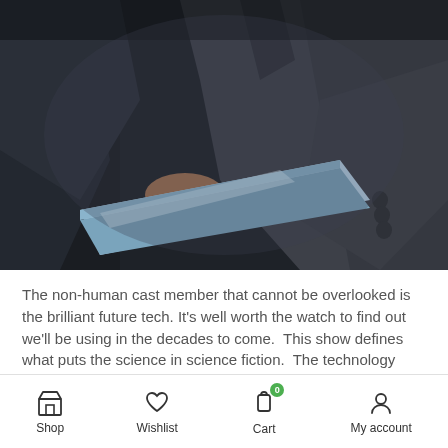[Figure (photo): Dark photograph showing two people in suits, one holding a thin laptop/tablet device. The scene is dimly lit with a dark blue-grey tone.]
The non-human cast member that cannot be overlooked is the brilliant future tech. It's well worth the watch to find out we'll be using in the decades to come.  This show defines what puts the science in science fiction.  The technology was developed for the show by experts who predict what is on the horizon for real life application.  Particularly of interest, the camera that floats in midair for amazing selfies, because taking pictures for social
Shop  Wishlist  Cart 0  My account